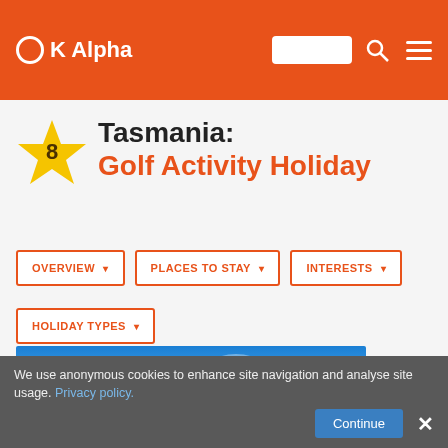OK Alpha
Tasmania: Golf Activity Holiday
OVERVIEW ▾
PLACES TO STAY ▾
INTERESTS ▾
HOLIDAY TYPES ▾
[Figure (photo): Panoramic landscape photo showing a blue sky, rolling green hills, and a single tree on an orange-red earth field]
We use anonymous cookies to enhance site navigation and analyse site usage. Privacy policy. Continue ×